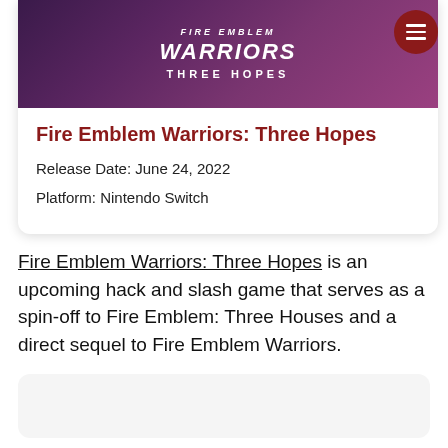[Figure (screenshot): Fire Emblem Warriors: Three Hopes game banner image with stylized logo text on a dark purple/maroon gradient background]
Fire Emblem Warriors: Three Hopes
Release Date: June 24, 2022
Platform: Nintendo Switch
Fire Emblem Warriors: Three Hopes is an upcoming hack and slash game that serves as a spin-off to Fire Emblem: Three Houses and a direct sequel to Fire Emblem Warriors.